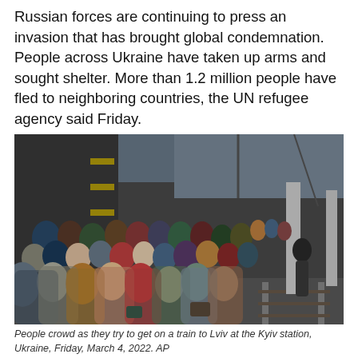Russian forces are continuing to press an invasion that has brought global condemnation. People across Ukraine have taken up arms and sought shelter. More than 1.2 million people have fled to neighboring countries, the UN refugee agency said Friday.
[Figure (photo): A large crowd of people packed together on a train platform at Kyiv station in Ukraine, trying to board a train to Lviv. People are wearing winter clothing including hats and jackets. The platform and railway tracks are visible, along with the station's overhead structure.]
People crowd as they try to get on a train to Lviv at the Kyiv station, Ukraine, Friday, March 4, 2022. AP